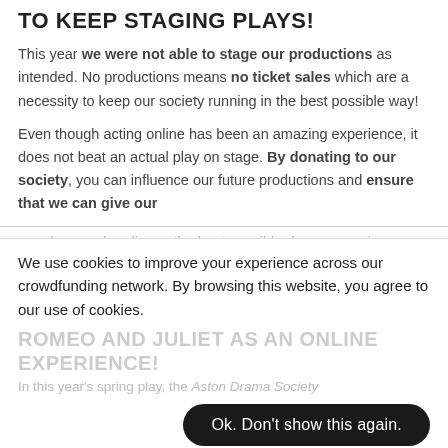TO KEEP STAGING PLAYS!
This year we were not able to stage our productions as intended. No productions means no ticket sales which are a necessity to keep our society running in the best possible way!
Even though acting online has been an amazing experience, it does not beat an actual play on stage. By donating to our society, you can influence our future productions and ensure that we can give our
members and audience the best possible drama experience.
We use cookies to improve your experience across our crowdfunding network. By browsing this website, you agree to our use of cookies.
ROMEO AND JULIET AS AN ONLINE EXPERIENCE!
In this year's spring play, the Aston Drama Society
Ok. Don't show this again.